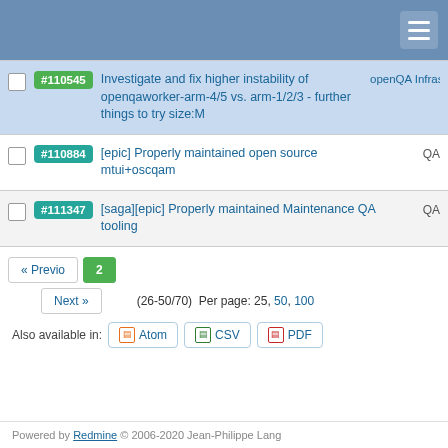|  | ID | Title | Category |
| --- | --- | --- | --- |
|  | #110545 | Investigate and fix higher instability of openqaworker-arm-4/5 vs. arm-1/2/3 - further things to try size:M | openQA Infrastructure |
|  | #110884 | [epic] Properly maintained open source mtui+oscqam | QA |
|  | #111347 | [saga][epic] Properly maintained Maintenance QA tooling | QA |
« Previo  2  Next »  (26-50/70)  Per page: 25, 50, 100
Also available in:  Atom  CSV  PDF
Powered by Redmine © 2006-2020 Jean-Philippe Lang